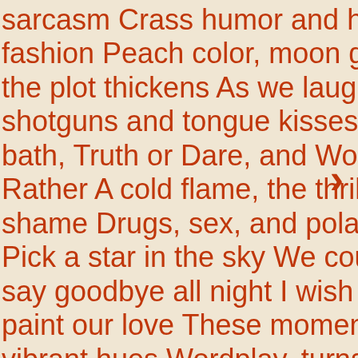sarcasm Crass humor and high fashion Peach color, moon glistens, the plot thickens As we laugh over shotguns and tongue kisses Bubble bath, Truth or Dare, and Would You Rather A cold flame, the thrill of no shame Drugs, sex, and polaroids Pick a star in the sky We could both say goodbye all night I wish I could paint our love These moments and vibrant hues Wordplay, turns into gun play And gun play turns into pillow talk And pillow talk turns into sweet dreams Sweet dreams turns into coffee in the morning Coffee in the morning I don't wanna wake you I just wanna watch you sleep It's the smell of your hair And it's the way that your face